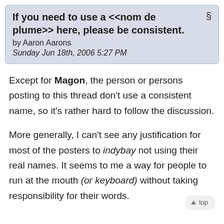If you need to use a <<nom de plume>> here, please be consistent.  §
by Aaron Aarons
Sunday Jun 18th, 2006 5:27 PM
Except for Magon, the person or persons posting to this thread don't use a consistent name, so it's rather hard to follow the discussion.
More generally, I can't see any justification for most of the posters to indybay not using their real names. It seems to me a way for people to run at the mouth (or keyboard) without taking responsibility for their words.